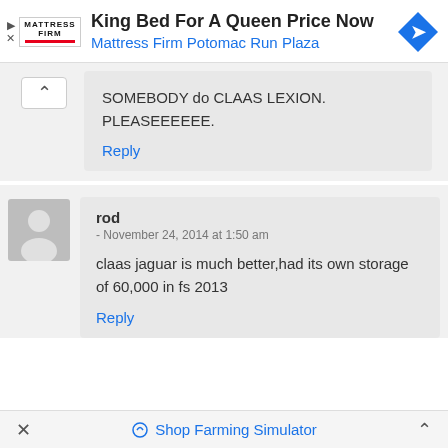[Figure (screenshot): Advertisement banner for Mattress Firm showing logo, text 'King Bed For A Queen Price Now / Mattress Firm Potomac Run Plaza', and a blue navigation arrow icon]
SOMEBODY do CLAAS LEXION. PLEASEEEEEE.
Reply
rod
- November 24, 2014 at 1:50 am
claas jaguar is much better,had its own storage of 60,000 in fs 2013
Reply
Shop Farming Simulator